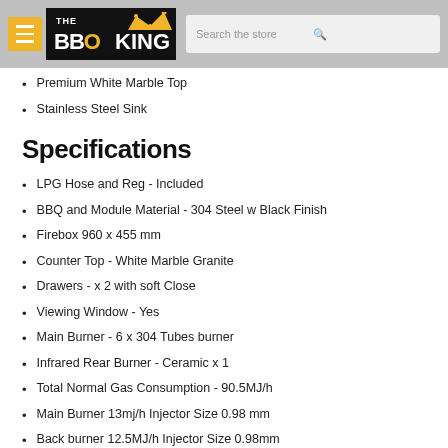THE BBQ KING — Search the store
Premium White Marble Top
Stainless Steel Sink
Specifications
LPG Hose and Reg  - Included
BBQ and Module Material - 304 Steel w Black Finish
Firebox 960 x 455 mm
Counter Top - White Marble Granite
Drawers  - x 2 with soft Close
Viewing Window - Yes
Main Burner - 6 x 304 Tubes  burner
Infrared Rear Burner - Ceramic x 1
Total Normal Gas Consumption - 90.5MJ/h
Main Burner 13mj/h Injector Size 0.98 mm
Back burner 12.5MJ/h Injector Size 0.98mm
Flame Tamer 304 x 6